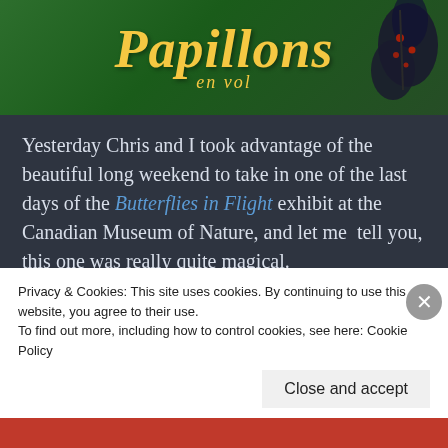[Figure (illustration): Banner image with dark green background, large italic yellow 'Papillons' text, smaller italic yellow 'en vol' text below, and a dark butterfly with red spots on the right side.]
Yesterday Chris and I took advantage of the beautiful long weekend to take in one of the last days of the Butterflies in Flight exhibit at the Canadian Museum of Nature, and let me  tell you, this one was really quite magical.
Continue reading
By presentingpast in Exploring Exhibits | April 1, 2018 | 548
Privacy & Cookies: This site uses cookies. By continuing to use this website, you agree to their use.
To find out more, including how to control cookies, see here: Cookie Policy
Close and accept